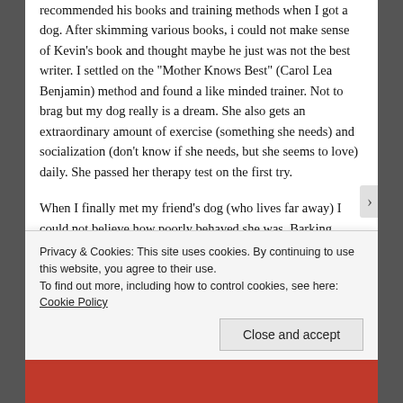recommended his books and training methods when I got a dog. After skimming various books, i could not make sense of Kevin's book and thought maybe he just was not the best writer. I settled on the "Mother Knows Best" (Carol Lea Benjamin) method and found a like minded trainer. Not to brag but my dog really is a dream. She also gets an extraordinary amount of exercise (something she needs) and socialization (don't know if she needs, but she seems to love) daily. She passed her therapy test on the first try.
When I finally met my friend's dog (who lives far away) I could not believe how poorly behaved she was. Barking incessantly, snarling, flashing her teeth and lunging at strange dogs (she is a large...
Privacy & Cookies: This site uses cookies. By continuing to use this website, you agree to their use.
To find out more, including how to control cookies, see here: Cookie Policy
Close and accept